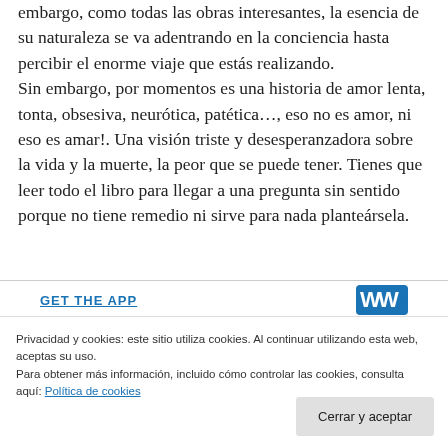embargo, como todas las obras interesantes, la esencia de su naturaleza se va adentrando en la conciencia hasta percibir el enorme viaje que estás realizando. Sin embargo, por momentos es una historia de amor lenta, tonta, obsesiva, neurótica, patética…, eso no es amor, ni eso es amar!. Una visión triste y desesperanzadora sobre la vida y la muerte, la peor que se puede tener. Tienes que leer todo el libro para llegar a una pregunta sin sentido porque no tiene remedio ni sirve para nada planteársela.
[Figure (other): GET THE APP banner with WordPress logo]
Privacidad y cookies: este sitio utiliza cookies. Al continuar utilizando esta web, aceptas su uso.
Para obtener más información, incluido cómo controlar las cookies, consulta aquí: Política de cookies